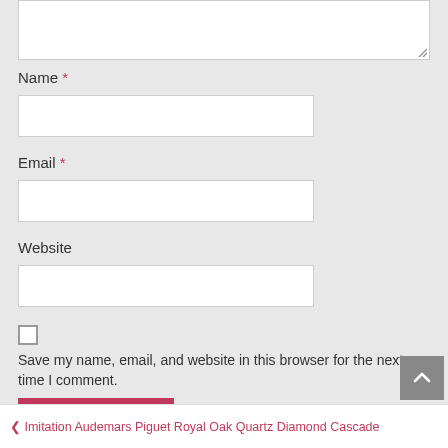[Figure (screenshot): Textarea input box at top of page, partially visible]
Name *
[Figure (screenshot): Name text input field]
Email *
[Figure (screenshot): Email text input field]
Website
[Figure (screenshot): Website text input field]
[Figure (screenshot): Checkbox (unchecked)]
Save my name, email, and website in this browser for the next time I comment.
POST COMMENT
❮ Imitation Audemars Piguet Royal Oak Quartz Diamond Cascade